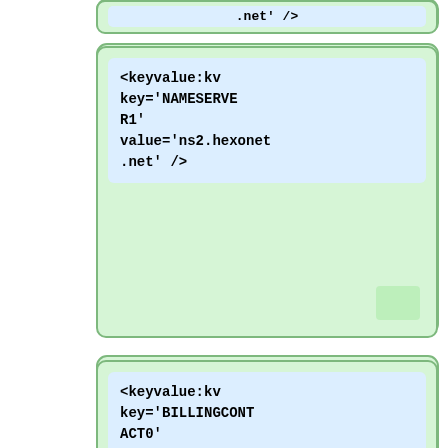[Figure (screenshot): Code snippet showing XML-like keyvalue:kv elements with keys NAMESERVER1, BILLINGCONTACT0 (twice), and NOTICE-POA-ACCEPT-HASH with corresponding values, displayed as stacked green-bordered boxes with light blue inner code blocks and plus signs indicating additions.]